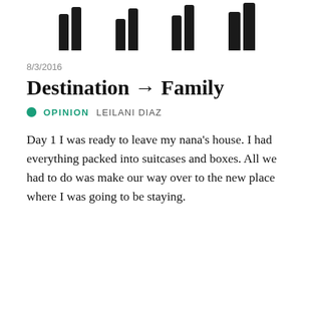[decorative bar chart icon header]
8/3/2016
Destination → Family
● OPINION   LEILANI DIAZ
Day 1 I was ready to leave my nana's house. I had everything packed into suitcases and boxes. All we had to do was make our way over to the new place where I was going to be staying.